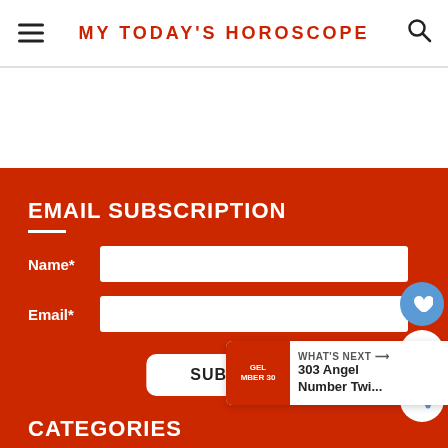MY TODAY'S HOROSCOPE
EMAIL SUBSCRIPTION
Name*
Email*
SUBMIT
WHAT'S NEXT → 303 Angel Number Twi...
CATEGORIES